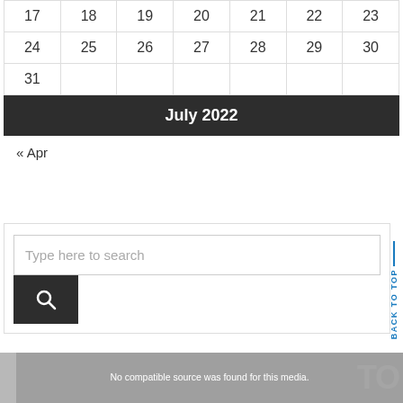| 17 | 18 | 19 | 20 | 21 | 22 | 23 |
| 24 | 25 | 26 | 27 | 28 | 29 | 30 |
| 31 |  |  |  |  |  |  |
July 2022
« Apr
Type here to search
BACK TO TOP
No compatible source was found for this media.